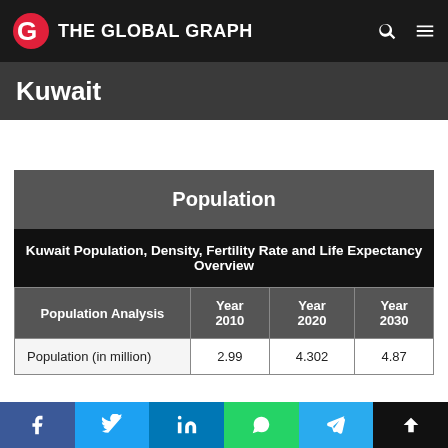THE GLOBAL GRAPH
Kuwait
| Population Analysis | Year 2010 | Year 2020 | Year 2030 |
| --- | --- | --- | --- |
| Population (in million) | 2.99 | 4.302 | 4.87 |